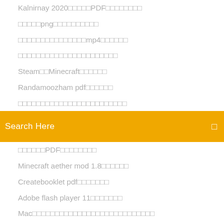Kalnirnay 2020日本語PDF日本語日本語日本語
日本語日本語png日本語日本語日本語日本語
日本語日本語日本語日本語日本語mp4日本語日本語日本語
日本語日本語日本語日本語日本語日本語日本語日本語日本語
Steam日本語Minecraft日本語日本語日本語日本語
Randamoozham pdf日本語日本語日本語
日本語日本語日本語日本語日本語日本語日本語日本語日本語日本語
[Figure (screenshot): Orange/yellow search bar with 'Search Here' placeholder text and a search icon on the right]
日本語日本語PDF日本語日本語日本語日本語日本語日本語
Minecraft aether mod 1.8日本語日本語日本語
Createbooklet pdf日本語日本語日本語日本語
Adobe flash player 11日本語日本語日本語日本語
Mac日本語日本語日本語日本語日本語日本語日本語日本語日本語日本語
Hp officejet pro 6969日本語日本語日本語日本語日本語
日本語日本語日本語日本語日本語
日本語日本語2050 uaser日本語日本語pdf日本語日本語日本語
日本語日本語日本語日本語日本語日本語日本語日本語i219 lm日本語日本語日本語日本語7
日本語日本語日本語日本語日本語日本語